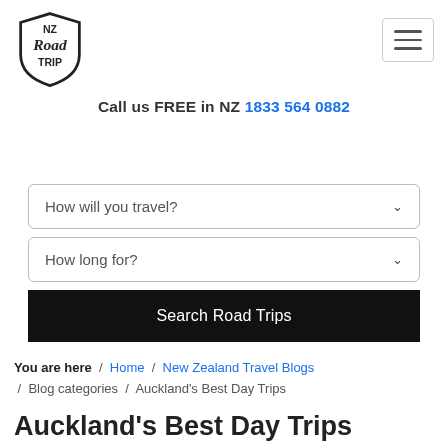[Figure (logo): NZ Road Trip shield logo with stylized text]
Call us FREE in NZ 1833 564 0882
How will you travel?
How long for?
Search Road Trips
You are here / Home / New Zealand Travel Blogs / Blog categories / Auckland's Best Day Trips
Auckland's Best Day Trips